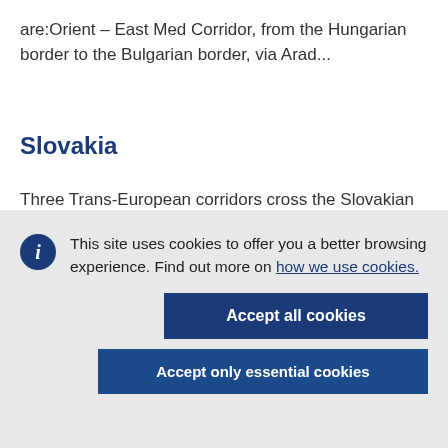are:Orient – East Med Corridor, from the Hungarian border to the Bulgarian border, via Arad...
Slovakia
Three Trans-European corridors cross the Slovakian rail...
This site uses cookies to offer you a better browsing experience. Find out more on how we use cookies.
Accept all cookies
Accept only essential cookies